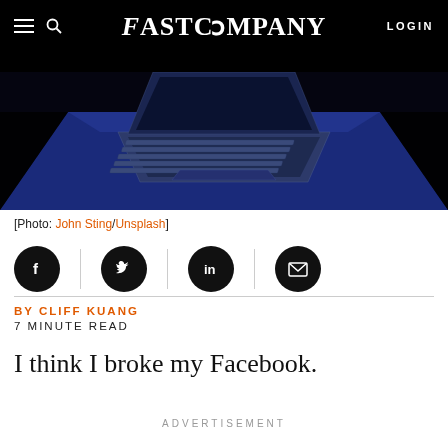FAST COMPANY   LOGIN
[Figure (photo): Top-down view of a laptop on a blue-lit surface in dark surroundings]
[Photo: John Sting/Unsplash]
[Figure (infographic): Social share buttons: Facebook, Twitter, LinkedIn, Email]
BY CLIFF KUANG
7 MINUTE READ
I think I broke my Facebook.
ADVERTISEMENT